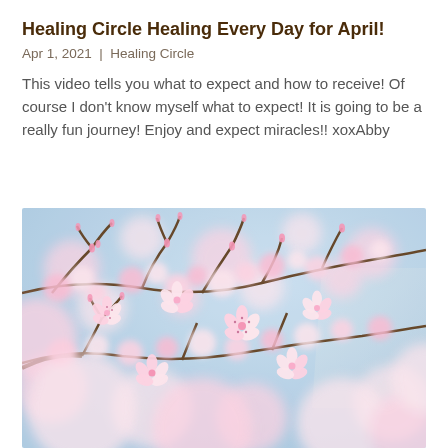Healing Circle Healing Every Day for April!
Apr 1, 2021 | Healing Circle
This video tells you what to expect and how to receive! Of course I don't know myself what to expect! It is going to be a really fun journey! Enjoy and expect miracles!! xoxAbby
[Figure (photo): Close-up photograph of pink cherry blossom flowers on branches against a light blue sky background, soft focus bokeh effect]